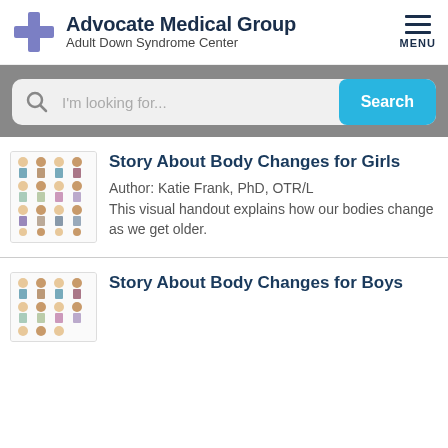Advocate Medical Group Adult Down Syndrome Center
[Figure (screenshot): Search bar with magnifying glass icon, placeholder text 'I'm looking for...', and a blue Search button]
[Figure (illustration): Thumbnail image for 'Story About Body Changes for Girls' showing a grid of illustrated figures representing body changes]
Story About Body Changes for Girls
Author: Katie Frank, PhD, OTR/L
This visual handout explains how our bodies change as we get older.
[Figure (illustration): Thumbnail image for 'Story About Body Changes for Boys' showing a grid of illustrated figures]
Story About Body Changes for Boys